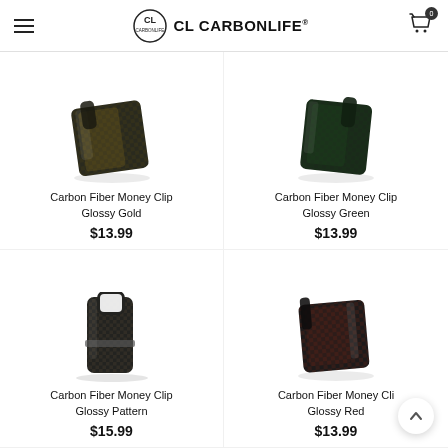CL CARBONLIFE®
[Figure (photo): Carbon Fiber Money Clip Glossy Gold product photo]
Carbon Fiber Money Clip Glossy Gold
$13.99
[Figure (photo): Carbon Fiber Money Clip Glossy Green product photo]
Carbon Fiber Money Clip Glossy Green
$13.99
[Figure (photo): Carbon Fiber Money Clip Glossy Pattern product photo]
Carbon Fiber Money Clip Glossy Pattern
$15.99
[Figure (photo): Carbon Fiber Money Clip Glossy Red product photo]
Carbon Fiber Money Clip Glossy Red
$13.99